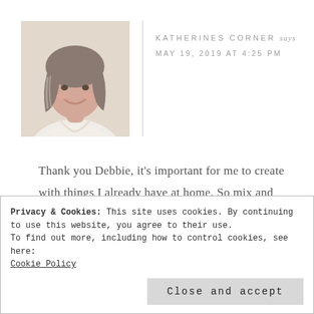[Figure (photo): Profile photo of a woman with gray-brown hair, smiling, wearing a light pink top, against a beige background]
KATHERINES CORNER says
MAY 19, 2019 AT 4:25 PM
Thank you Debbie, it’s important for me to create with things I already have at home. So mix and match is always fun. I’ve been enjoying participating in the tablescape hops.
Privacy & Cookies: This site uses cookies. By continuing to use this website, you agree to their use.
To find out more, including how to control cookies, see here:
Cookie Policy
Close and accept